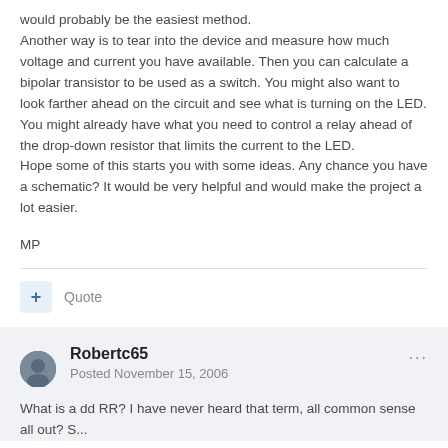would probably be the easiest method.
Another way is to tear into the device and measure how much voltage and current you have available. Then you can calculate a bipolar transistor to be used as a switch. You might also want to look farther ahead on the circuit and see what is turning on the LED. You might already have what you need to control a relay ahead of the drop-down resistor that limits the current to the LED.
Hope some of this starts you with some ideas. Any chance you have a schematic? It would be very helpful and would make the project a lot easier.
MP
+ Quote
Robertc65
Posted November 15, 2006
What is a dd RR? I have never heard that term, all common sense all out? S...